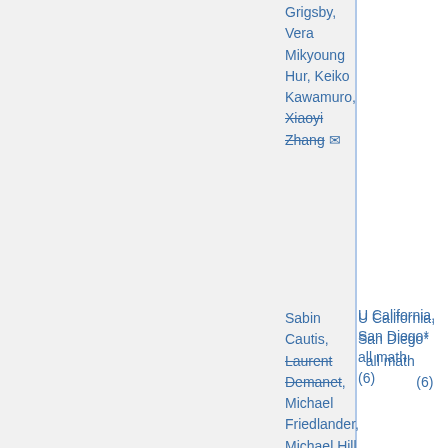| Institution | Area | Date | Names |
| --- | --- | --- | --- |
|  |  |  | Grigsby, Vera Mikyoung Hur, Keiko Kawamuro, Xiaoyi Zhang, ... |
| U California, San Diego* | all math (6) | Nov 2 | Sabin Cautis, Laurent Demanet, Michael Friedlander, Michael Hill, Vera Mikyoung Hur, Todd Kemp, Thomas Lam, Melvin Leok, Wei-Biao Wu |
| U Colorado, Boulder* | logic | Dec 1 | Bart Kastermans, ... |